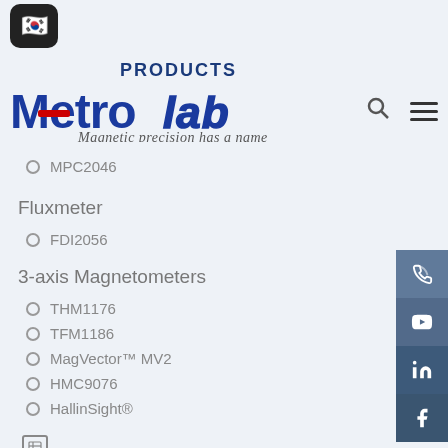[Figure (logo): Korean flag emoji button (dark rounded rectangle)]
PRODUCTS
[Figure (logo): Metrolab logo with tagline 'Magnetic precision has a name', search icon, and hamburger menu]
MPC2046
Fluxmeter
FDI2056
3-axis Magnetometers
THM1176
TFM1186
MagVector™ MV2
HMC9076
HallinSight®
[Figure (other): Small grid/table icon representing an unnamed product section]
PM1055